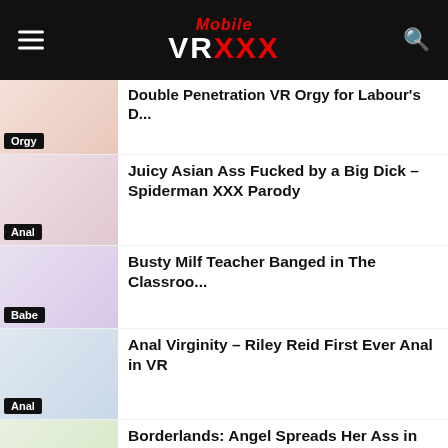Mobile VR XXX
Double Penetration VR Orgy for Labour's D...
Orgy
Juicy Asian Ass Fucked by a Big Dick – Spiderman XXX Parody
Anal
Busty Milf Teacher Banged in The Classroo...
Babe
Anal Virginity – Riley Reid First Ever Anal in VR
Anal
Borderlands: Angel Spreads Her Ass in VR...